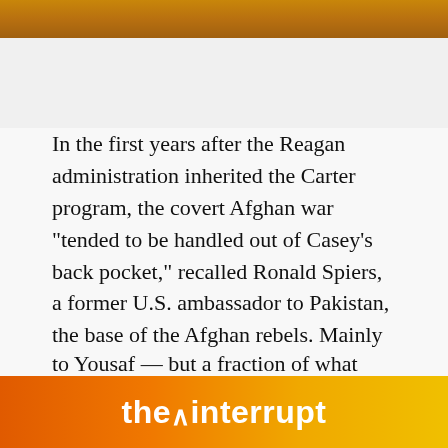[Figure (photo): Decorative header image with warm brown/orange tones at top of page]
In the first years after the Reagan administration inherited the Carter program, the covert Afghan war "tended to be handled out of Casey's back pocket," recalled Ronald Spiers, a former U.S. ambassador to Pakistan, the base of the Afghan rebels. Mainly from China's government, the CIA purchased assault rifles, grenade launchers, mines and SA-7 light antiaircraft weapons, and then arranged for shipment to Pakistan. Most of the weapons dated to the Korean War or earlier. The amounts were significant -- 10,000 tons of arms and ammunition in 1983, according to Yousaf -- but a fraction of what they would be in just a
[Figure (logo): Advertisement banner for 'the interrupt' with orange and yellow gradient background and white bold text]